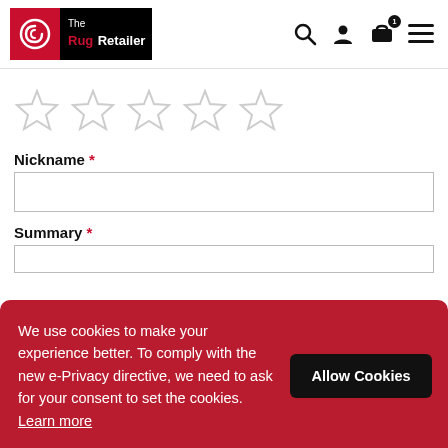[Figure (logo): The Rug Retailer logo — red and black with spiral icon]
[Figure (infographic): Five empty/outline star rating icons in a row]
Nickname *
[Figure (other): Nickname text input field (empty)]
Summary *
[Figure (other): Summary text input field (empty)]
We use cookies to make your experience better. To comply with the new e-Privacy directive, we need to ask for your consent to set the cookies. Learn more